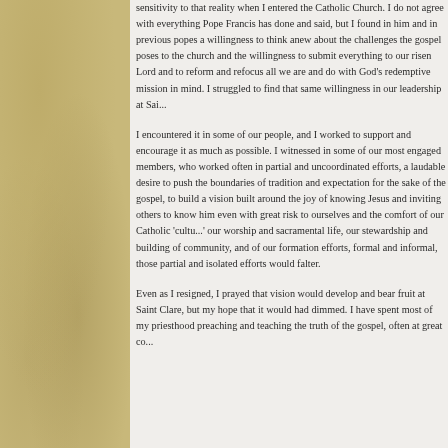sensitivity to that reality when I entered the Catholic Church. I do not agree with everything Pope Francis has done and said, but I found in him and in previous popes a willingness to think anew about the challenges the gospel poses to the church and the willingness to submit everything to our risen Lord and to reform and refocus all we are and do with God's redemptive mission in mind. I struggled to find that same willingness in our leadership at Sai...
I encountered it in some of our people, and I worked to support and encourage it as much as possible. I witnessed in some of our most engaged members, who worked often in partial and uncoordinated efforts, a laudable desire to push the boundaries of tradition and expectation for the sake of the gospel, to build a vision built around the joy of knowing Jesus and inviting others to know him even with great risk to ourselves and the comfort of our Catholic 'culture': the quality of our worship and sacramental life, our stewardship and building of community, and of our formation efforts, formal and informal, those partial and isolated efforts would falter.
Even as I resigned, I prayed that vision would develop and bear fruit at Saint Clare, but my hope that it would had dimmed. I have spent most of my priesthood preaching and teaching the truth of the gospel, often at great co...